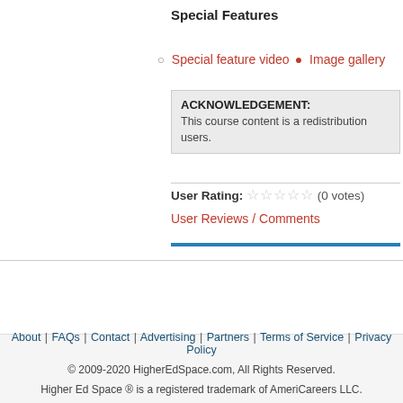Special Features
Special feature video  Image gallery
ACKNOWLEDGEMENT: This course content is a redistribution users.
User Rating: ☆☆☆☆☆ (0 votes)
User Reviews / Comments
About | FAQs | Contact | Advertising | Partners | Terms of Service | Privacy Policy © 2009-2020 HigherEdSpace.com, All Rights Reserved. Higher Ed Space ® is a registered trademark of AmeriCareers LLC.